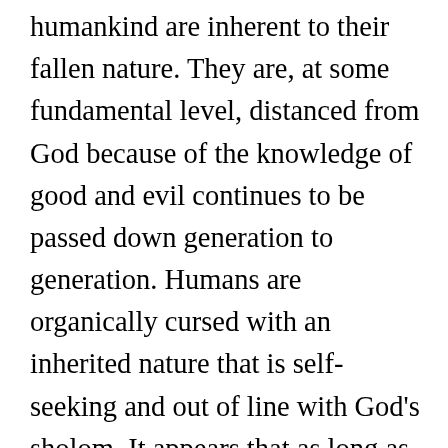humankind are inherent to their fallen nature. They are, at some fundamental level, distanced from God because of the knowledge of good and evil continues to be passed down generation to generation. Humans are organically cursed with an inherited nature that is self-seeking and out of line with God's sholom. It appears that as long as humans continue to be on the earth residing in their current, fallen state, sin and evil will continue to rule over them. Evil will continue to dominate on the earth until God's ultimate plan of restoration and reconciliation with humankind is fully realized though the